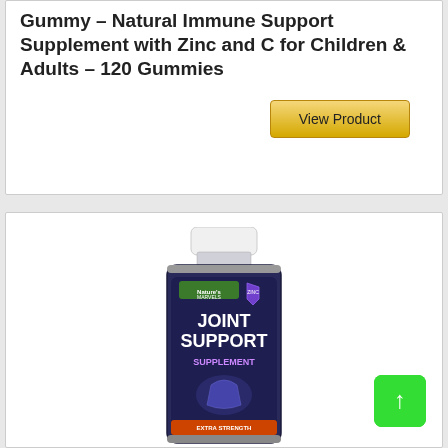Gummy – Natural Immune Support Supplement with Zinc and C for Children & Adults – 120 Gummies
[Figure (other): Golden 'View Product' button]
[Figure (photo): Nature's Marvels Joint Support Supplement bottle with purple/dark blue label showing JOINT SUPPORT SUPPLEMENT text]
[Figure (other): Green scroll-to-top button with upward arrow]